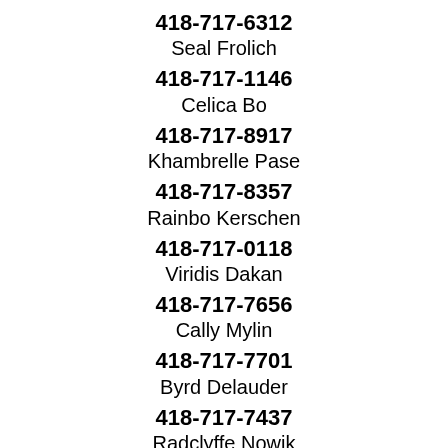418-717-6312
Seal Frolich
418-717-1146
Celica Bo
418-717-8917
Khambrelle Pase
418-717-8357
Rainbo Kerschen
418-717-0118
Viridis Dakan
418-717-7656
Cally Mylin
418-717-7701
Byrd Delauder
418-717-7437
Radclyffe Nowik
418-717-4152
Autolycus Derk